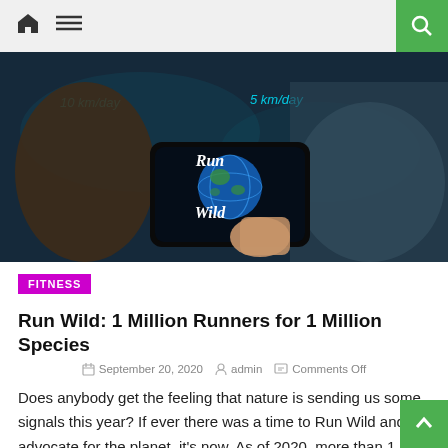Navigation bar with home icon, menu icon, and search button
[Figure (photo): Person holding a smartphone displaying 'Run Wild' app with a globe graphic. Background shows holographic-style stats: '10 km/day' and '5 km/day'. Dark teal color scheme.]
FITNESS
Run Wild: 1 Million Runners for 1 Million Species
September 20, 2020   admin   Comments Off
Does anybody get the feeling that nature is sending us some signals this year? If ever there was a time to Run Wild and advocate for the planet, it's now. As of 2020, more than 1 million species of plants and animals are threatened with extinction because of human activities.